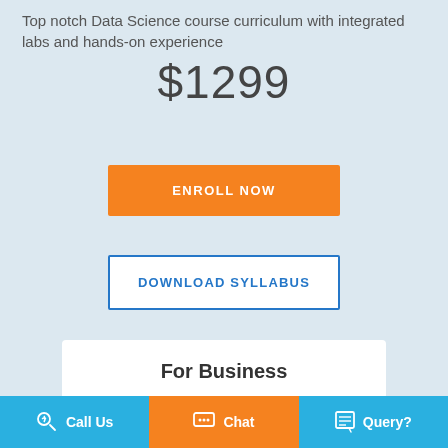Top notch Data Science course curriculum with integrated labs and hands-on experience
$1299
ENROLL NOW
DOWNLOAD SYLLABUS
For Business
Call Us  Chat  Query?